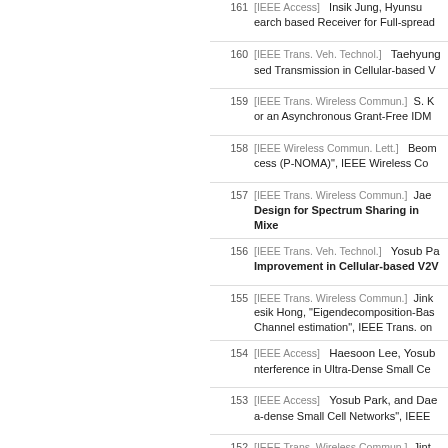161 [IEEE Access]   Insik Jung, Hyunsoo... earch based Receiver for Full-spread...
160 [IEEE Trans. Veh. Technol.]   Taehyung... sed Transmission in Cellular-based V...
159 [IEEE Trans. Wireless Commun.]   S. K... or an Asynchronous Grant-Free IDM...
158 [IEEE Wireless Commun. Lett.]   Beom... cess (P-NOMA)", IEEE Wireless Co...
157 [IEEE Trans. Wireless Commun.]   Jae... Design for Spectrum Sharing in Mixe...
156 [IEEE Trans. Veh. Technol.]   Yosub Pa... Improvement in Cellular-based V2V...
155 [IEEE Trans. Wireless Commun.]   Jink... esik Hong, "Eigendecomposition-Bas... Channel estimation", IEEE Trans. on...
154 [IEEE Access]   Haesoon Lee, Yosub... nterference in Ultra-Dense Small Ce...
153 [IEEE Access]   Yosub Park, and Dae... a-dense Small Cell Networks", IEEE...
152 [IEEE Trans. Wireless Commun.]   Jint... sik Hong, "A New Filter-Bank Multica... eless Comm., Apr. 2018